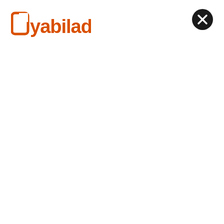[Figure (logo): Yabiladi logo in orange/red color with stylized Arabic-influenced lettering and a square bracket icon on the left]
[Figure (other): Black circular button with white X mark in the upper right corner]